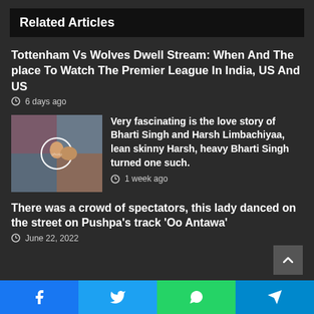Related Articles
Tottenham Vs Wolves Dwell Stream: When And The place To Watch The Premier League In India, US And US
6 days ago
[Figure (photo): Collage photo of Bharti Singh and Harsh Limbachiyaa]
Very fascinating is the love story of Bharti Singh and Harsh Limbachiyaa, lean skinny Harsh, heavy Bharti Singh turned one such.
1 week ago
There was a crowd of spectators, this lady danced on the street on Pushpa's track 'Oo Antawa'
June 22, 2022